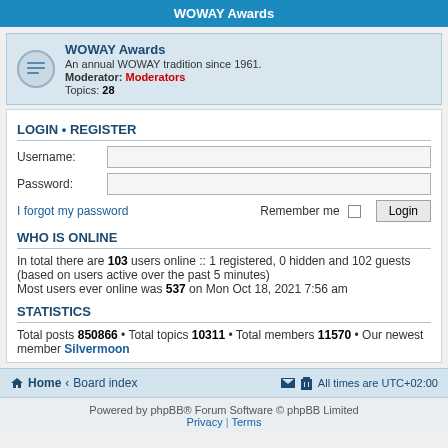WOWAY Awards
WOWAY Awards
An annual WOWAY tradition since 1961.
Moderator: Moderators
Topics: 28
LOGIN • REGISTER
Username:
Password:
I forgot my password
Remember me ☐ Login
WHO IS ONLINE
In total there are 103 users online :: 1 registered, 0 hidden and 102 guests (based on users active over the past 5 minutes)
Most users ever online was 537 on Mon Oct 18, 2021 7:56 am
STATISTICS
Total posts 850866 • Total topics 10311 • Total members 11570 • Our newest member Silvermoon
Home · Board index    All times are UTC+02:00
Powered by phpBB® Forum Software © phpBB Limited
Privacy | Terms